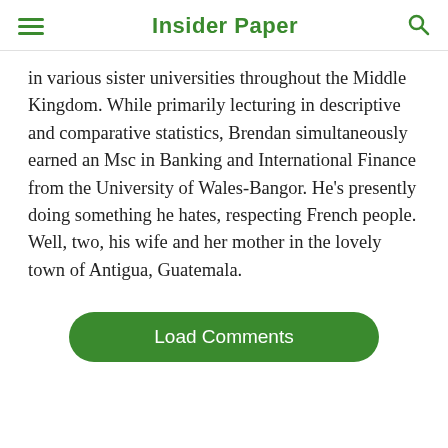Insider Paper
in various sister universities throughout the Middle Kingdom. While primarily lecturing in descriptive and comparative statistics, Brendan simultaneously earned an Msc in Banking and International Finance from the University of Wales-Bangor. He's presently doing something he hates, respecting French people. Well, two, his wife and her mother in the lovely town of Antigua, Guatemala.
Load Comments